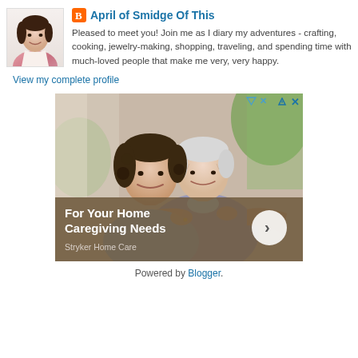[Figure (photo): Profile photo of April from Smidge Of This blog, a woman in a floral top]
April of Smidge Of This
Pleased to meet you! Join me as I diary my adventures - crafting, cooking, jewelry-making, shopping, traveling, and spending time with much-loved people that make me very, very happy.
View my complete profile
[Figure (photo): Advertisement photo showing two women smiling and hugging, with overlay text 'For Your Home Caregiving Needs' and 'Stryker Home Care']
Powered by Blogger.